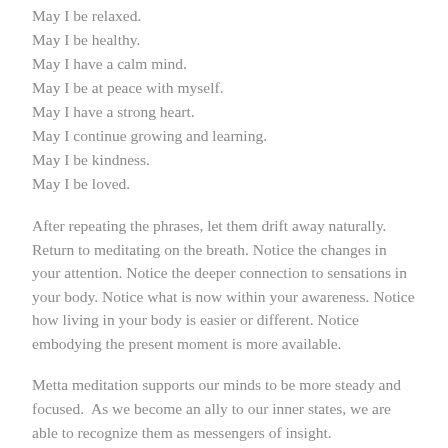May I be relaxed.
May I be healthy.
May I have a calm mind.
May I be at peace with myself.
May I have a strong heart.
May I continue growing and learning.
May I be kindness.
May I be loved.
After repeating the phrases, let them drift away naturally. Return to meditating on the breath. Notice the changes in your attention. Notice the deeper connection to sensations in your body. Notice what is now within your awareness. Notice how living in your body is easier or different. Notice embodying the present moment is more available.
Metta meditation supports our minds to be more steady and focused.  As we become an ally to our inner states, we are able to recognize them as messengers of insight.
In Metta,